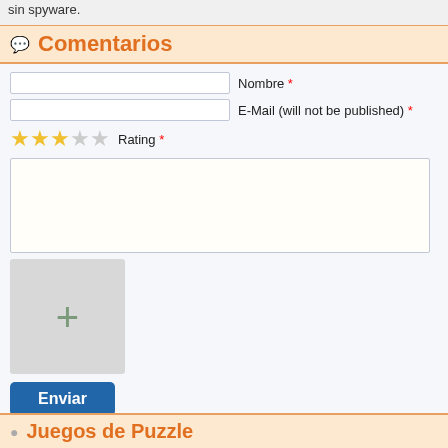sin spyware.
Comentarios
[Figure (screenshot): Web comment form with fields for Nombre, E-Mail, star rating (3 out of 5 stars filled), text area, image upload button (plus icon), and Enviar (submit) button]
Juegos de Puzzle